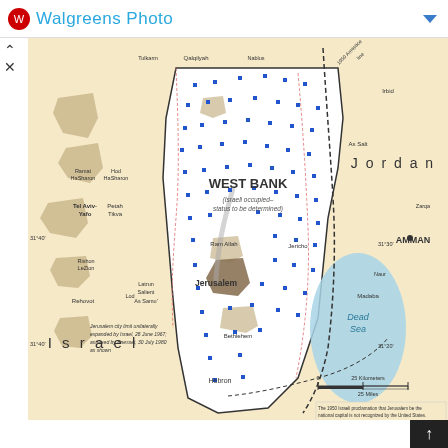Walgreens Photo
[Figure (map): Map of the West Bank and surrounding region showing Israel to the west, Jordan to the east, and the Dead Sea to the southeast. The West Bank is labeled as Israeli occupied, status to be determined. Key cities shown include Jerusalem, Bethlehem, Hebron, Jericho, Tel Aviv-Yafo, Petah Tikva, Amman. A note about Jerusalem city limits unilaterally expanded by Israel 28 June 1967, annexed by Knesset 30 July 1980 is shown. Scale bar and disclaimer about the 1950 Israeli proclamation that Jerusalem be the national capital not recognized by the United States. Boundary representation is not necessarily authoritative.]